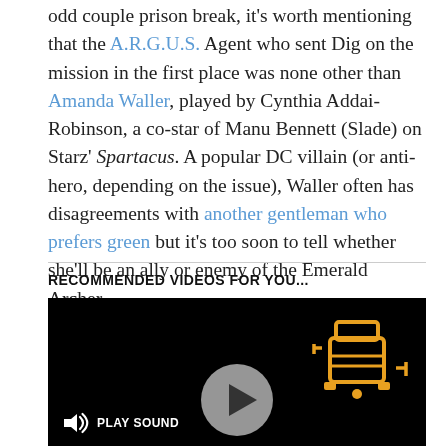odd couple prison break, it's worth mentioning that the A.R.G.U.S. Agent who sent Dig on the mission in the first place was none other than Amanda Waller, played by Cynthia Addai-Robinson, a co-star of Manu Bennett (Slade) on Starz' Spartacus. A popular DC villain (or anti-hero, depending on the issue), Waller often has disagreements with another gentleman who prefers green but it's too soon to tell whether she'll be an ally or enemy of the Emerald Archer.
RECOMMENDED VIDEOS FOR YOU...
[Figure (screenshot): Video player with black background showing a blender icon in the top right corner in orange/yellow, a circular play button in the center, and a 'Play Sound' button with speaker icon in the bottom left.]